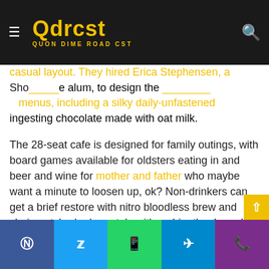Qdrcst - QUON DIME ROAD CST
casual layout. They hired Erica Stephensen, a [partially visible] alum, to design the menus, including a silky daily-unfastened ingesting chocolate made with oat milk.
The 28-seat cafe is designed for family outings, with board games available for oldsters eating in and beer and wine for mother and father who maybe want a minute to loosen up, ok? Non-drinkers can get a brief restore with nitro bloodless brew and chai, matched adequately with a chipotle-almond brownie. Memos open April 22 at 3494 N Williams Avenue.
I have loved a terrific glass of desk wine generally with my meals. Wine tasting events have constantly been a fave interest, particularly while combined with cheese. No, I am
Facebook | Twitter | WhatsApp | Telegram | Phone